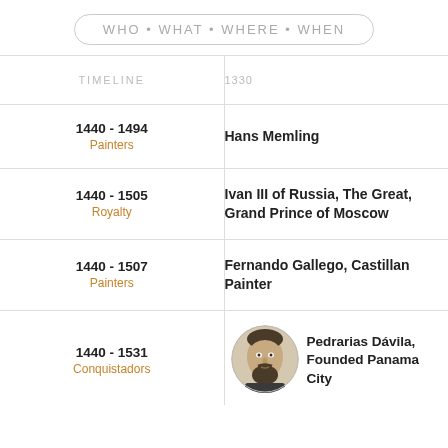WHO • WHAT • WHERE • WHEN
| TIMELINE | 1330 |
| --- | --- |
| 1440 - 1494
Painters | Hans Memling |
| 1440 - 1505
Royalty | Ivan III of Russia, The Great, Grand Prince of Moscow |
| 1440 - 1507
Painters | Fernando Gallego, Castillan Painter |
| 1440 - 1531
Conquistadors | [portrait] Pedrarias Dávila, Founded Panama City |